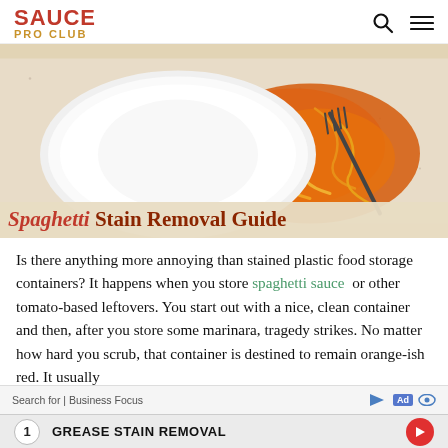SAUCE PRO CLUB
[Figure (photo): Top-down view of spilled spaghetti with tomato sauce on a white plate on a granite counter, with a fork lying in the spilled pasta. Image overlaid with title text 'Spaghetti Stain Removal Guide'.]
Is there anything more annoying than stained plastic food storage containers? It happens when you store spaghetti sauce or other tomato-based leftovers. You start out with a nice, clean container and then, after you store some marinara, tragedy strikes. No matter how hard you scrub, that container is destined to remain orange-ish red. It usually
Search for | Business Focus  Ad  1 GREASE STAIN REMOVAL